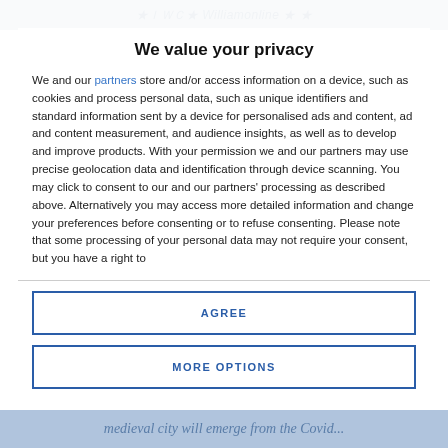We value your privacy
We and our partners store and/or access information on a device, such as cookies and process personal data, such as unique identifiers and standard information sent by a device for personalised ads and content, ad and content measurement, and audience insights, as well as to develop and improve products. With your permission we and our partners may use precise geolocation data and identification through device scanning. You may click to consent to our and our partners' processing as described above. Alternatively you may access more detailed information and change your preferences before consenting or to refuse consenting. Please note that some processing of your personal data may not require your consent, but you have a right to
AGREE
MORE OPTIONS
medieval city will emerge from the Covid...